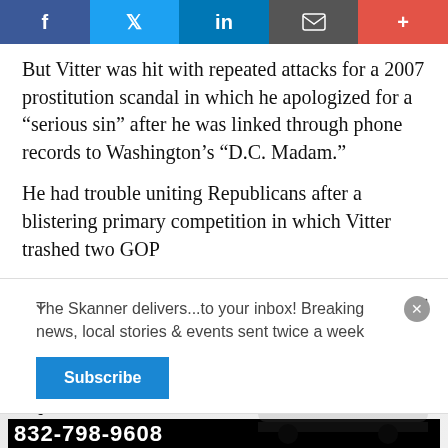[Figure (other): Social media sharing bar with Facebook, Twitter, LinkedIn, Email, and Plus buttons]
But Vitter was hit with repeated attacks for a 2007 prostitution scandal in which he apologized for a “serious sin” after he was linked through phone records to Washington’s “D.C. Madam.”
He had trouble uniting Republicans after a blistering primary competition in which Vitter trashed two GOP
The Skanner delivers...to your inbox! Breaking news, local stories & events sent twice a week
Subscribe
[Figure (other): Advertisement for Autobuses Lucano with bus image, logo, and phone number 832-798-9608. Text: SERVICIO DE PAQUETERÍA]